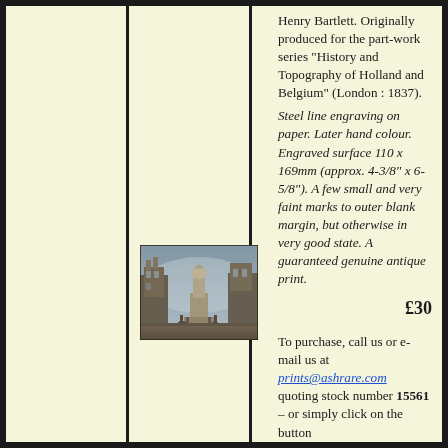[Figure (illustration): Antique engraving showing a street scene with a large decorative fountain or monument in the center, surrounded by buildings and figures, in a misty/atmospheric style.]
Henry Bartlett. Originally produced for the part-work series “History and Topography of Holland and Belgium” (London : 1837).
Steel line engraving on paper. Later hand colour. Engraved surface 110 x 169mm (approx. 4-3/8” x 6-5/8”). A few small and very faint marks to outer blank margin, but otherwise in very good state. A guaranteed genuine antique print.
£30
To purchase, call us or e-mail us at prints@ashrare.com quoting stock number 15561 – or simply click on the button